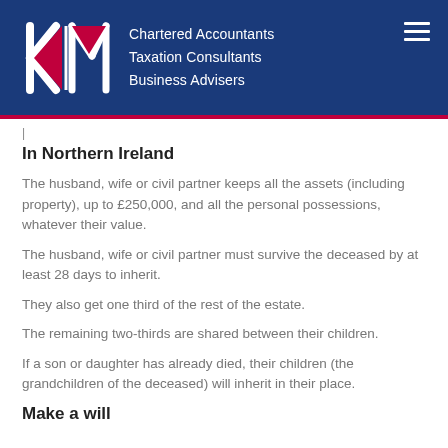[Figure (logo): KM Chartered Accountants logo with stylized K and M letters in white and red on dark blue background, with text 'Chartered Accountants, Taxation Consultants, Business Advisers']
Chartered Accountants
Taxation Consultants
Business Advisers
In Northern Ireland
The husband, wife or civil partner keeps all the assets (including property), up to £250,000, and all the personal possessions, whatever their value.
The husband, wife or civil partner must survive the deceased by at least 28 days to inherit.
They also get one third of the rest of the estate.
The remaining two-thirds are shared between their children.
If a son or daughter has already died, their children (the grandchildren of the deceased) will inherit in their place.
Make a will